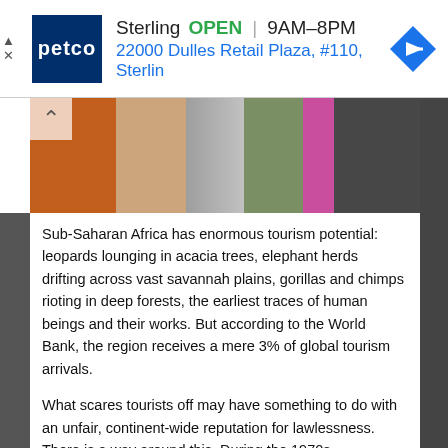[Figure (screenshot): Petco advertisement banner showing store name Sterling, OPEN status, hours 9AM-8PM, address 22000 Dulles Retail Plaza #110 Sterlin, Petco logo in blue square, navigation arrow icon]
[Figure (photo): Partial photo of people near a tree, showing colorful clothing including orange and pink, appears to be an outdoor scene in Africa]
Sub-Saharan Africa has enormous tourism potential: leopards lounging in acacia trees, elephant herds drifting across vast savannah plains, gorillas and chimps rioting in deep forests, the earliest traces of human beings and their works. But according to the World Bank, the region receives a mere 3% of global tourism arrivals.
What scares tourists off may have something to do with an unfair, continent-wide reputation for lawlessness. There is a way around this. During the 1970s, entrepreneurs created the idea of eco-tourism as an alternative to the sun and sand